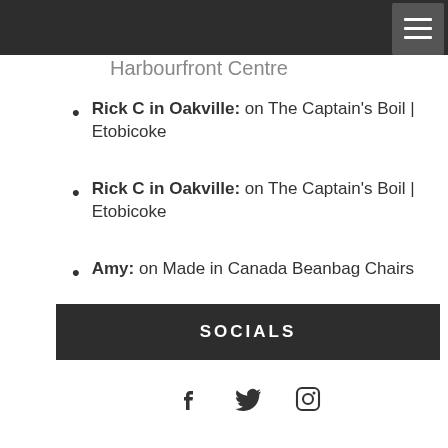Harbourfront Centre
Rick C in Oakville: on The Captain's Boil | Etobicoke
Rick C in Oakville: on The Captain's Boil | Etobicoke
Amy: on Made in Canada Beanbag Chairs
Linda: on Doors Open Toronto: Mimico Baptist Church
SOCIALS
[Figure (infographic): Social media icons: Facebook, Twitter, Instagram]